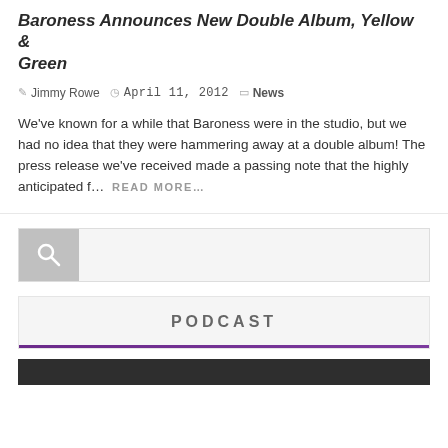Baroness Announces New Double Album, Yellow & Green
Jimmy Rowe · April 11, 2012 · News
We've known for a while that Baroness were in the studio, but we had no idea that they were hammering away at a double album! The press release we've received made a passing note that the highly anticipated f... READ MORE...
[Figure (other): Search bar with magnifying glass icon on grey background]
PODCAST